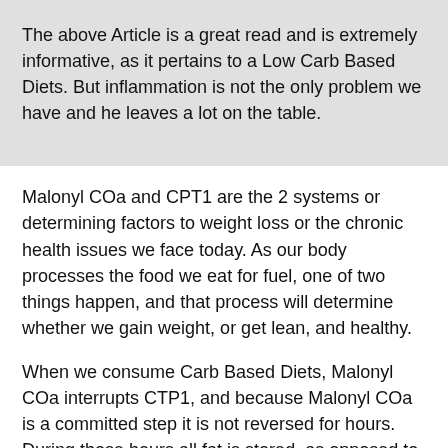The above Article is a great read and is extremely informative, as it pertains to a Low Carb Based Diets.  But inflammation is not the only problem we have and he leaves a lot on the table.
Malonyl COa  and CPT1 are the 2 systems or determining factors to weight loss or the chronic health issues we face today.  As our body processes the food we eat for fuel, one of two things happen, and that process will determine whether we gain weight, or get lean, and healthy.
When we consume  Carb Based Diets, Malonyl COa interrupts CTP1, and because Malonyl COa is a committed step it is not reversed for hours.  During those hours all fat is stored, as opposed to burned, and the glucose is absorbed into the cells to be used as fuel.   But when we eat a High Fat diet, CTP1, an enzyme from the liver will allow fat to be carried to the cell through the mitochondria and used as